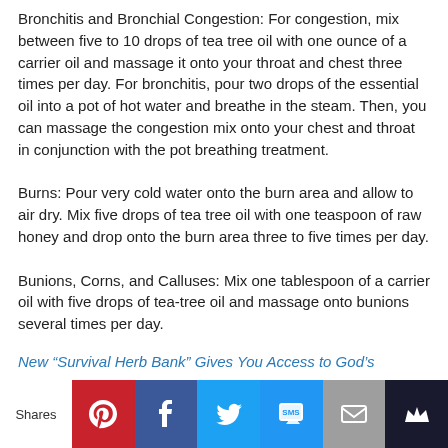Bronchitis and Bronchial Congestion: For congestion, mix between five to 10 drops of tea tree oil with one ounce of a carrier oil and massage it onto your throat and chest three times per day. For bronchitis, pour two drops of the essential oil into a pot of hot water and breathe in the steam. Then, you can massage the congestion mix onto your chest and throat in conjunction with the pot breathing treatment.
Burns: Pour very cold water onto the burn area and allow to air dry. Mix five drops of tea tree oil with one teaspoon of raw honey and drop onto the burn area three to five times per day.
Bunions, Corns, and Calluses: Mix one tablespoon of a carrier oil with five drops of tea-tree oil and massage onto bunions several times per day.
New “Survival Herb Bank” Gives You Access to God’s